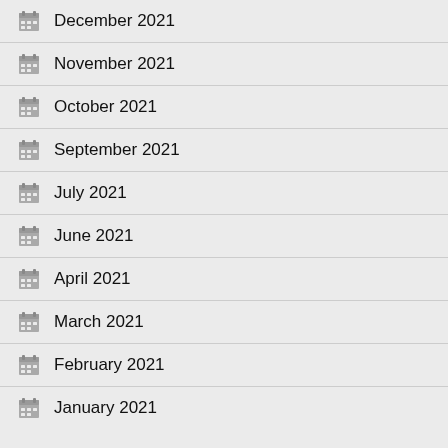December 2021
November 2021
October 2021
September 2021
July 2021
June 2021
April 2021
March 2021
February 2021
January 2021